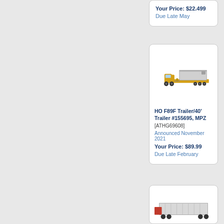Your Price: $22.499
Due Late May
[Figure (photo): Model railroad HO scale F89F flatcar with 40 foot trailer in yellow/gold color]
HO F89F Trailer/40' Trailer #155695, MPZ
[ATHG69608]
Announced November 2021
Your Price: $89.99
Due Late February
[Figure (photo): Model railroad HO scale item, partial view at bottom of page]